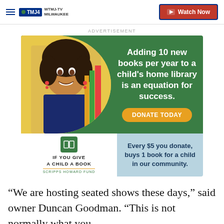WTMJ-TV MILWAUKEE | Watch Now
ADVERTISEMENT
[Figure (infographic): If You Give a Child a Book – Scripps Howard Fund advertisement. Shows a smiling girl next to colorful books on a yellow/green background. Text: 'Adding 10 new books per year to a child's home library is an equation for success.' with a DONATE TODAY button. Bottom section: 'Every $5 you donate, buys 1 book for a child in our community.']
“We are hosting seated shows these days,” said owner Duncan Goodman. “This is not normally what you